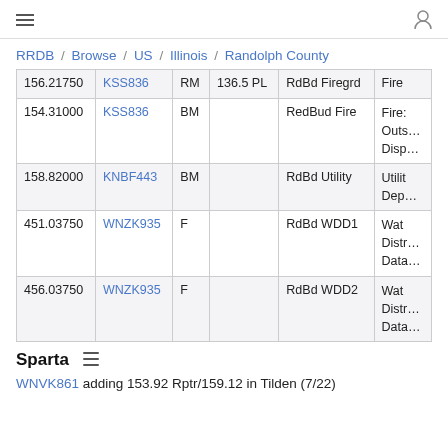≡  (user icon)
RRDB / Browse / US / Illinois / Randolph County
| Frequency | License | Type | Tone | Name | Description |
| --- | --- | --- | --- | --- | --- |
| 156.21750 | KSS836 | RM | 136.5 PL | RdBd Firegrd | Fire… |
| 154.31000 | KSS836 | BM |  | RedBud Fire | Fire… Outs… Disp… |
| 158.82000 | KNBF443 | BM |  | RdBd Utility | Utilit… Dep… |
| 451.03750 | WNZK935 | F |  | RdBd WDD1 | Wat… Distr… Data… |
| 456.03750 | WNZK935 | F |  | RdBd WDD2 | Wat… Distr… Data… |
Sparta
WNVK861 adding 153.92 Rptr/159.12 in Tilden (7/22)